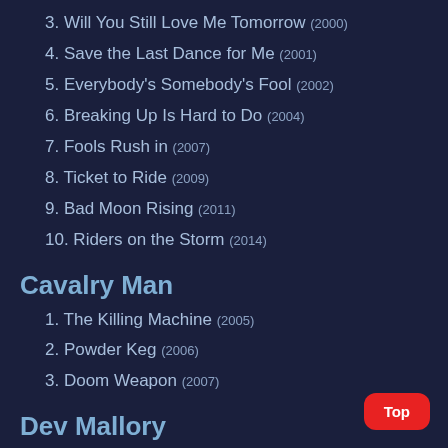3. Will You Still Love Me Tomorrow (2000)
4. Save the Last Dance for Me (2001)
5. Everybody's Somebody's Fool (2002)
6. Breaking Up Is Hard to Do (2004)
7. Fools Rush in (2007)
8. Ticket to Ride (2009)
9. Bad Moon Rising (2011)
10. Riders on the Storm (2014)
Cavalry Man
1. The Killing Machine (2005)
2. Powder Keg (2006)
3. Doom Weapon (2007)
Dev Mallory
1. Bad Money (2005)
2. Fast Track (2006)